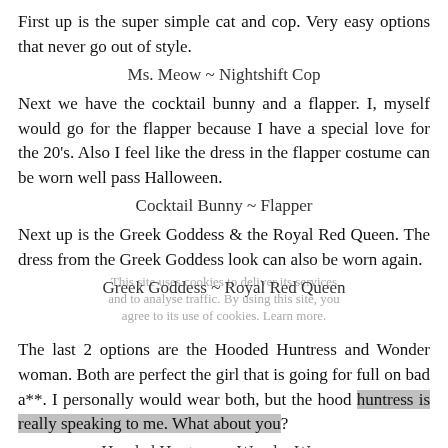First up is the super simple cat and cop. Very easy options that never go out of style.
Ms. Meow ~ Nightshift Cop
Next we have the cocktail bunny and a flapper. I, myself would go for the flapper because I have a special love for the 20's. Also I feel like the dress in the flapper costume can be worn well pass Halloween.
Cocktail Bunny ~ Flapper
Next up is the Greek Goddess & the Royal Red Queen. The dress from the Greek Goddess look can also be worn again.
Greek Goddess ~ Royal Red Queen
The last 2 options are the Hooded Huntress and Wonder woman. Both are perfect the girl that is going for full on bad a**. I personally would wear both, but the hood huntress is really speaking to me. What about you?
Hooded Huntress ~ Wonder Woman
Let me know what you will be this Halloween. Are you a